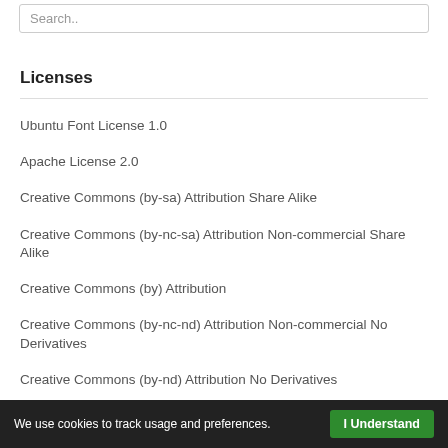Search..
Licenses
Ubuntu Font License 1.0
Apache License 2.0
Creative Commons (by-sa) Attribution Share Alike
Creative Commons (by-nc-sa) Attribution Non-commercial Share Alike
Creative Commons (by) Attribution
Creative Commons (by-nc-nd) Attribution Non-commercial No Derivatives
Creative Commons (by-nd) Attribution No Derivatives
We use cookies to track usage and preferences. I Understand